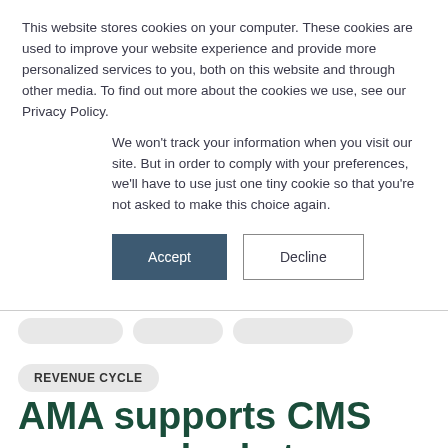This website stores cookies on your computer. These cookies are used to improve your website experience and provide more personalized services to you, both on this website and through other media. To find out more about the cookies we use, see our Privacy Policy.
We won't track your information when you visit our site. But in order to comply with your preferences, we'll have to use just one tiny cookie so that you're not asked to make this choice again.
Accept
Decline
REVENUE CYCLE
AMA supports CMS proposed rule to reduce E/M code burdens